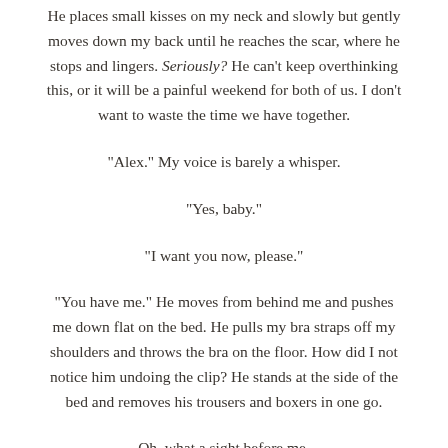He places small kisses on my neck and slowly but gently moves down my back until he reaches the scar, where he stops and lingers. Seriously? He can't keep overthinking this, or it will be a painful weekend for both of us. I don't want to waste the time we have together.
“Alex.” My voice is barely a whisper.
“Yes, baby.”
“I want you now, please.”
“You have me.” He moves from behind me and pushes me down flat on the bed. He pulls my bra straps off my shoulders and throws the bra on the floor. How did I not notice him undoing the clip? He stands at the side of the bed and removes his trousers and boxers in one go.
Oh, what a sight before me.
“Alex…”